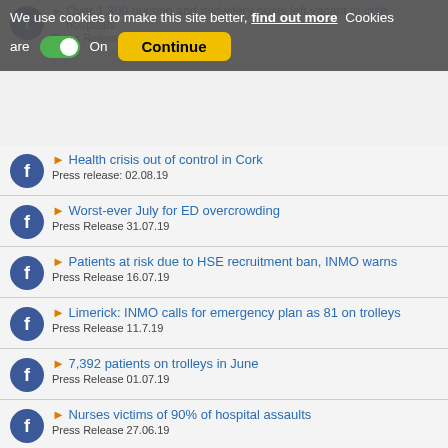Over 1,300 nursing and midwifery posts left vacant in Irish hospitals | Press Release - 26.08.19
We use cookies to make this site better, find out more  Cookies are On  Continue
Health crisis out of control in Cork | Press release: 02.08.19
Worst-ever July for ED overcrowding | Press Release 31.07.19
Patients at risk due to HSE recruitment ban, INMO warns | Press Release 16.07.19
Limerick: INMO calls for emergency plan as 81 on trolleys | Press Release 11.7.19
7,392 patients on trolleys in June | Press Release 01.07.19
Nurses victims of 90% of hospital assaults | Press Release 27.06.19
Pride: INMO calls for trans-inclusive health workplaces | Press Release 27.06.19
9,015 patients on trolleys in May | Press Release 31.5.19